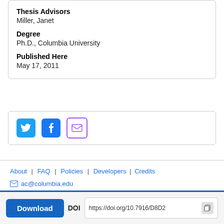Thesis Advisors
Miller, Janet
Degree
Ph.D., Columbia University
Published Here
May 17, 2011
[Figure (infographic): Social sharing buttons: Twitter (blue bird icon), Facebook (blue f icon), Email (purple envelope icon)]
About | FAQ | Policies | Developers | Credits
ac@columbia.edu
Download   DOI https://doi.org/10.7916/D8D2